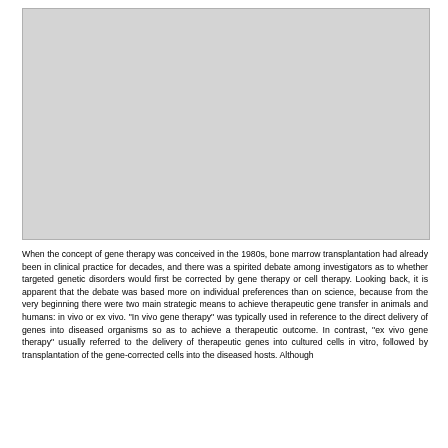[Figure (other): Gray placeholder image area, likely a figure or photograph related to gene therapy]
When the concept of gene therapy was conceived in the 1980s, bone marrow transplantation had already been in clinical practice for decades, and there was a spirited debate among investigators as to whether targeted genetic disorders would first be corrected by gene therapy or cell therapy. Looking back, it is apparent that the debate was based more on individual preferences than on science, because from the very beginning there were two main strategic means to achieve therapeutic gene transfer in animals and humans: in vivo or ex vivo. "In vivo gene therapy" was typically used in reference to the direct delivery of genes into diseased organisms so as to achieve a therapeutic outcome. In contrast, "ex vivo gene therapy" usually referred to the delivery of therapeutic genes into cultured cells in vitro, followed by transplantation of the gene-corrected cells into the diseased hosts. Although